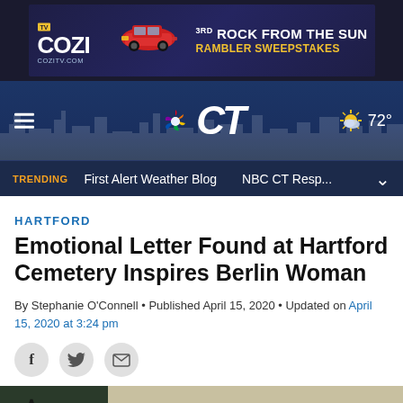[Figure (screenshot): COZI TV advertisement banner - 3rd Rock From The Sun Rambler Sweepstakes. Features COZI TV logo, red classic car, text: 3RD ROCK FROM THE SUN RAMBLER SWEEPSTAKES, COZITV.COM]
[Figure (screenshot): NBC Connecticut website header with hamburger menu, NBC peacock logo and CT text, weather icon showing 72 degrees, dark blue background with city skyline silhouette]
[Figure (screenshot): NBC CT trending bar with orange TRENDING label, First Alert Weather Blog, NBC CT Resp... items and dropdown chevron]
HARTFORD
Emotional Letter Found at Hartford Cemetery Inspires Berlin Woman
By Stephanie O'Connell • Published April 15, 2020 • Updated on April 15, 2020 at 3:24 pm
[Figure (screenshot): Social sharing icons: Facebook (f), Twitter bird, Email envelope - all in gray circles]
[Figure (photo): Bottom partial photo showing dark tree branches on left and a handwritten letter on right with photo credit 'Kendra Brooke Frisk']